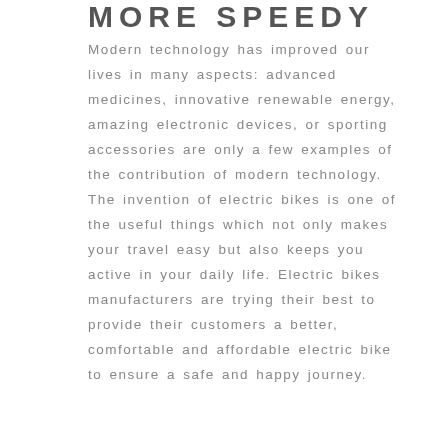MORE SPEEDY
Modern technology has improved our lives in many aspects: advanced medicines, innovative renewable energy, amazing electronic devices, or sporting accessories are only a few examples of the contribution of modern technology. The invention of electric bikes is one of the useful things which not only makes your travel easy but also keeps you active in your daily life. Electric bikes manufacturers are trying their best to provide their customers a better, comfortable and affordable electric bike to ensure a safe and happy journey.